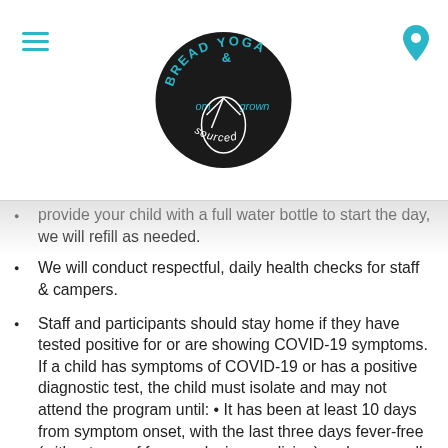Bread & Yoga — om grown — logo header with hamburger menu and location pin
provide your child with a full water bottle to start the day, we will refill as needed.
We will conduct respectful, daily health checks for staff & campers.
Staff and participants should stay home if they have tested positive for or are showing COVID-19 symptoms. If a child has symptoms of COVID-19 or has a positive diagnostic test, the child must isolate and may not attend the program until: • It has been at least 10 days from symptom onset, with the last three days fever-free (without use of fever-reducing medicine) and an overall reduction in symptoms. • If no symptoms, 10 days from the date they were tested.
Staff and participants who are not fully vaccinated and have recently had close contact with a person with